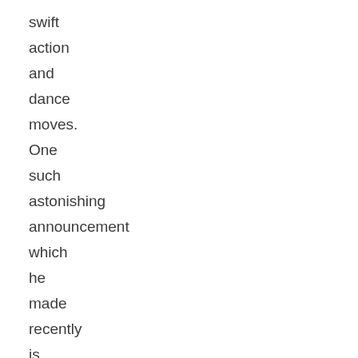swift
action
and
dance
moves.
One
such
astonishing
announcement
which
he
made
recently
is
about
his
upcoming